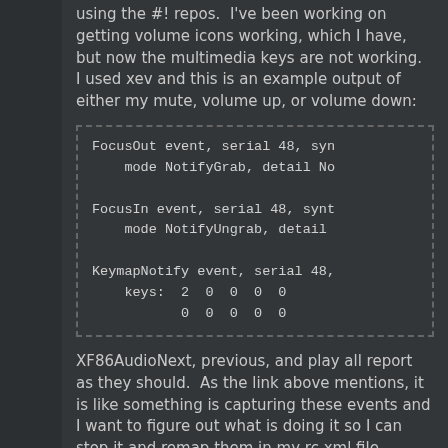using the #! repos.  I've been working on getting volume icons working, which I have, but now the multimedia keys are not working.  I used xev and this is an example output of either my mute, volume up, or volume down:
FocusOut event, serial 48, syn
    mode NotifyGrab, detail No

FocusIn event, serial 48, synt
    mode NotifyUngrab, detail

KeymapNotify event, serial 48,
    keys:  2  0  0  0  0
           0  0  0  0  0
XF86AudioNext, previous, and play all report as they should.  As the link above mentions, it is like something is capturing these events and I want to figure out what is doing it so I can stop it and remap them in my rc.xml file.